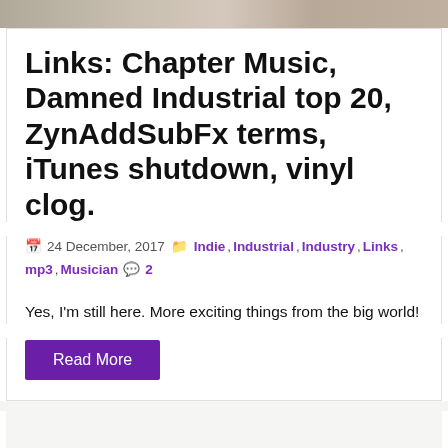[Figure (photo): Top portion of a photo showing people, partially cropped]
Links: Chapter Music, Damned Industrial top 20, ZynAddSubFx terms, iTunes shutdown, vinyl clog.
24 December, 2017  Indie, Industrial, Industry, Links, mp3, Musician  2
Yes, I'm still here. More exciting things from the big world!
Read More
Here's the rule: Kids listen to shit. When you were a kid you listened to shit. When I was a kid I listened to shit. Hopefully